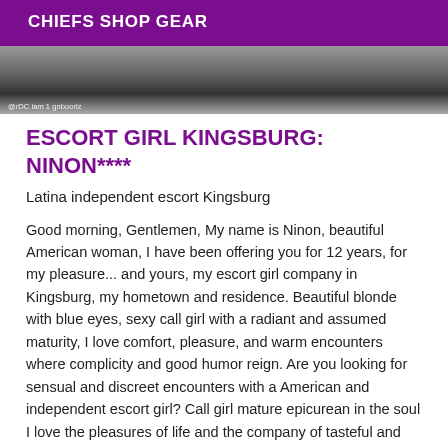CHIEFS SHOP GEAR
[Figure (photo): Partial photo of a person, cropped, dark tones with a watermark text reading '@rDC iam 1 gnboorlz']
ESCORT GIRL KINGSBURG: NINON****
Latina independent escort Kingsburg
Good morning, Gentlemen, My name is Ninon, beautiful American woman, I have been offering you for 12 years, for my pleasure... and yours, my escort girl company in Kingsburg, my hometown and residence. Beautiful blonde with blue eyes, sexy call girl with a radiant and assumed maturity, I love comfort, pleasure, and warm encounters where complicity and good humor reign. Are you looking for sensual and discreet encounters with a American and independent escort girl? Call girl mature epicurean in the soul I love the pleasures of life and the company of tasteful and caring men. Always in a playful mood, a bit mischievous and playful, I like to seduce and